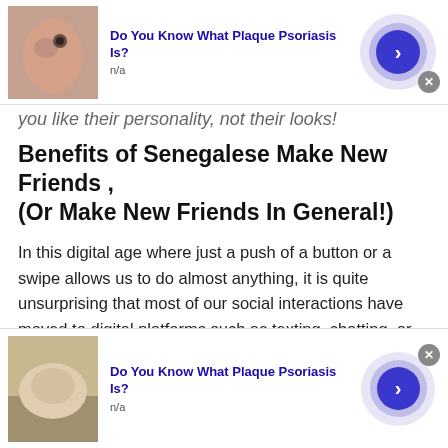[Figure (other): Top advertisement banner: skin/psoriasis image with text 'Do You Know What Plaque Psoriasis Is?' and 'n/a', with a blue circular arrow button and close X button]
you like their personality, not their looks!
Benefits of Senegalese Make New Friends , (Or Make New Friends In General!)
In this digital age where just a push of a button or a swipe allows us to do almost anything, it is quite unsurprising that most of our social interactions have moved to digital platforms such as texting, chatting, or video calling. People who crave connection can log onto Talkwithstranger, a site for Senegalese Make New
[Figure (other): Bottom advertisement banner: skin/psoriasis image with text 'Do You Know What Plaque Psoriasis Is?' and 'n/a', with a blue circular arrow button and close X button]